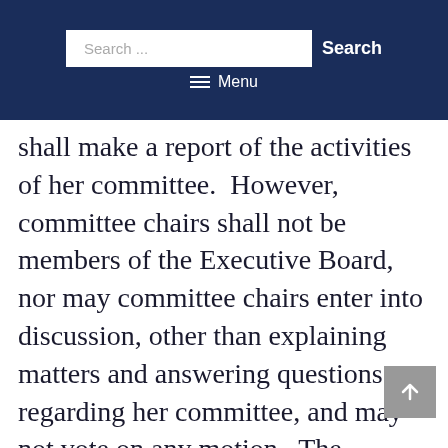Search ... Search ☰ Menu
shall make a report of the activities of her committee.  However, committee chairs shall not be members of the Executive Board, nor may committee chairs enter into discussion, other than explaining matters and answering questions regarding her committee, and may not vote on any motion.  The committee chairs shall attend Executive Board meetings only to provide information as needed by the Executive Board.